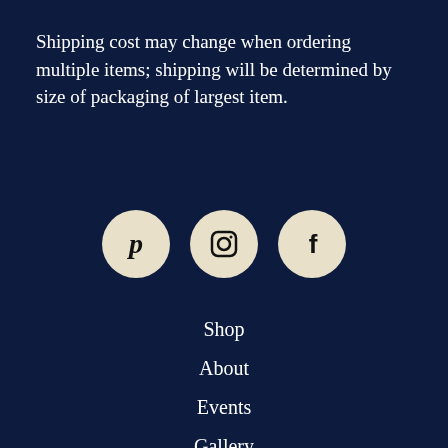Shipping cost may change when ordering multiple items; shipping will be determined by size of packaging of largest item.
[Figure (illustration): Three circular social media icon buttons with cream/beige background: Pinterest (P icon), Instagram (camera icon), Facebook (f icon)]
Shop
About
Events
Gallery
Shipping and Policies
Contact Us